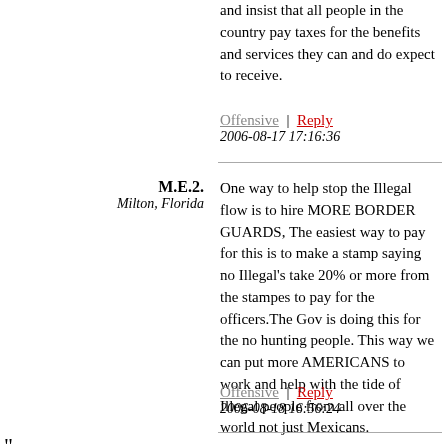and insist that all people in the country pay taxes for the benefits and services they can and do expect to receive.
Offensive | Reply
2006-08-17 17:16:36
M.E.2.
Milton, Florida
One way to help stop the Illegal flow is to hire MORE BORDER GUARDS, The easiest way to pay for this is to make a stamp saying no Illegal's take 20% or more from the stampes to pay for the officers.The Gov is doing this for the no hunting people. This way we can put more AMERICANS to work and help with the tide of Illegal people from all over the world not just Mexicans.
Offensive | Reply
2006-08-18 16:56:24
“
On 2006-08-17 17:16:36, M.E.2. said:

One way to help stop the Illegal flow is to hire MORE BORDER GUARDS, The easiest way to pay for this is to make a stamp saying no Illegal’s take...